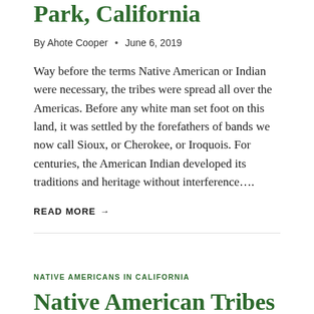Park, California
By Ahote Cooper • June 6, 2019
Way before the terms Native American or Indian were necessary, the tribes were spread all over the Americas. Before any white man set foot on this land, it was settled by the forefathers of bands we now call Sioux, or Cherokee, or Iroquois. For centuries, the American Indian developed its traditions and heritage without interference….
READ MORE →
NATIVE AMERICANS IN CALIFORNIA
Native American Tribes & the